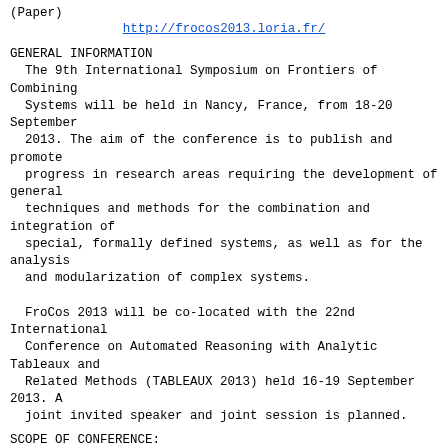(Paper)
http://frocos2013.loria.fr/
GENERAL INFORMATION
The 9th International Symposium on Frontiers of Combining
  Systems will be held in Nancy, France, from 18-20 September
  2013. The aim of the conference is to publish and promote
  progress in research areas requiring the development of general
  techniques and methods for the combination and integration of
  special, formally defined systems, as well as for the analysis
  and modularization of complex systems.

  FroCos 2013 will be co-located with the 22nd International
  Conference on Automated Reasoning with Analytic Tableaux and
  Related Methods (TABLEAUX 2013) held 16-19 September 2013. A
  joint invited speaker and joint session is planned.
SCOPE OF CONFERENCE:
In various areas of computer science, such as logic, computation,